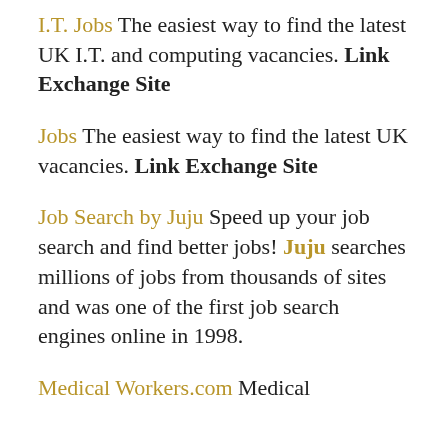I.T. Jobs The easiest way to find the latest UK I.T. and computing vacancies. Link Exchange Site
Jobs The easiest way to find the latest UK vacancies. Link Exchange Site
Job Search by Juju Speed up your job search and find better jobs! Juju searches millions of jobs from thousands of sites and was one of the first job search engines online in 1998.
Medical Workers.com Medical